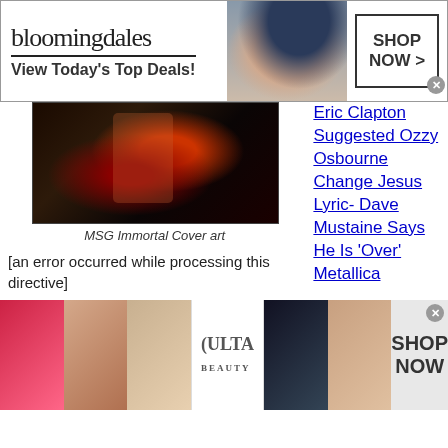[Figure (screenshot): Bloomingdale's advertisement banner with logo, tagline 'View Today's Top Deals!', model in sun hat, and SHOP NOW button]
[Figure (photo): MSG Immortal album cover art - dark fantasy battle scene]
MSG Immortal Cover art
[an error occurred while processing this directive]
Rock guitar legend Michael Schenker landed a top 21 story from January 2021 when revealed during an interview that he was
Eric Clapton Suggested Ozzy Osbourne Change Jesus Lyric- Dave Mustaine Says He Is 'Over' Metallica
[Figure (screenshot): Ulta Beauty advertisement banner with makeup model photos, Ulta logo, and SHOP NOW button]